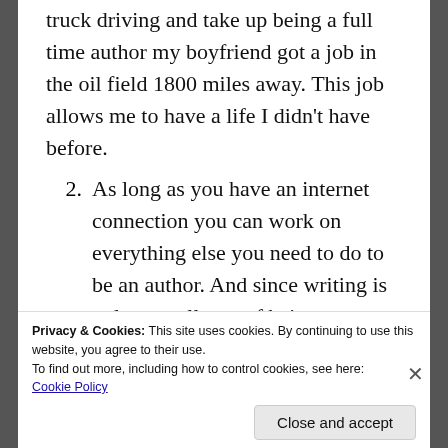truck driving and take up being a full time author my boyfriend got a job in the oil field 1800 miles away. This job allows me to have a life I didn't have before.
2. As long as you have an internet connection you can work on everything else you need to do to be an author. And since writing is only a small part of being an independently published author there is a lot of stuff you have to do to succeed.
3. So many beautiful covers to choose
Privacy & Cookies: This site uses cookies. By continuing to use this website, you agree to their use.
To find out more, including how to control cookies, see here: Cookie Policy